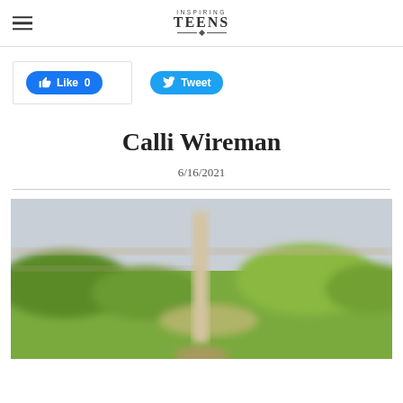Inspiring Teens
[Figure (screenshot): Facebook Like button (blue, 0 likes) and Twitter Tweet button (blue) social share widgets]
Calli Wireman
6/16/2021
[Figure (photo): Outdoor photo showing a blurred background with green bushes, a wooden fence or post in the center, and a light grey sky. Subject appears to be a person partially visible at the bottom.]